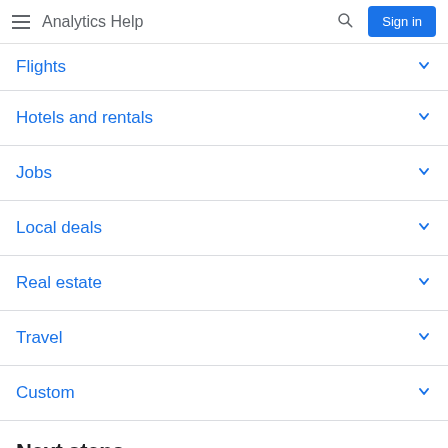Analytics Help
Flights
Hotels and rentals
Jobs
Local deals
Real estate
Travel
Custom
Next steps